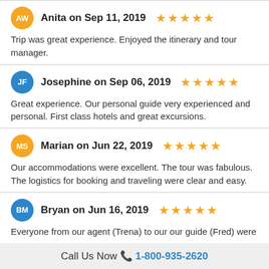Anita on Sep 11, 2019 ★★★★★
Trip was great experience. Enjoyed the itinerary and tour manager.
Josephine on Sep 06, 2019 ★★★★★
Great experience. Our personal guide very experienced and personal. First class hotels and great excursions.
Marian on Jun 22, 2019 ★★★★★
Our accommodations were excellent. The tour was fabulous. The logistics for booking and traveling were clear and easy.
Bryan on Jun 16, 2019 ★★★★★
Everyone from our agent (Trena) to our our guide (Fred) were
Call Us Now 📞 1-800-935-2620